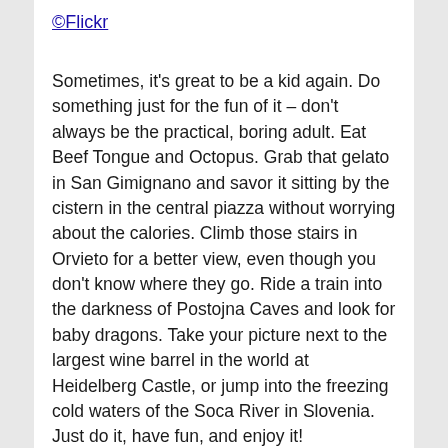©Flickr
Sometimes, it's great to be a kid again. Do something just for the fun of it – don't always be the practical, boring adult. Eat Beef Tongue and Octopus. Grab that gelato in San Gimignano and savor it sitting by the cistern in the central piazza without worrying about the calories. Climb those stairs in Orvieto for a better view, even though you don't know where they go. Ride a train into the darkness of Postojna Caves and look for baby dragons. Take your picture next to the largest wine barrel in the world at Heidelberg Castle, or jump into the freezing cold waters of the Soca River in Slovenia. Just do it, have fun, and enjoy it!